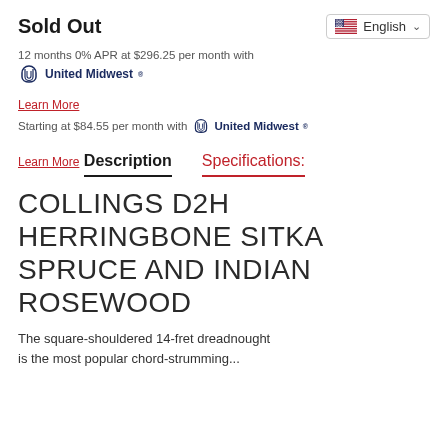Sold Out
12 months 0% APR at $296.25 per month with United Midwest
Learn More
Starting at $84.55 per month with United Midwest
Learn More
Description | Specifications:
COLLINGS D2H HERRINGBONE SITKA SPRUCE AND INDIAN ROSEWOOD
The square-shouldered 14-fret dreadnought is the most popular chord-strumming...